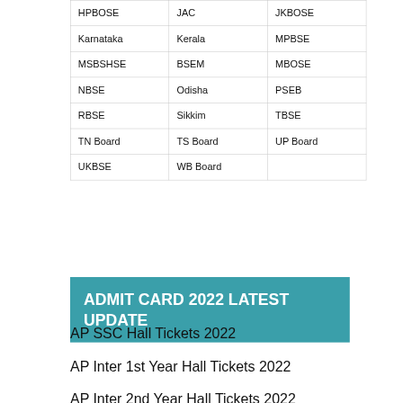| HPBOSE | JAC | JKBOSE |
| Karnataka | Kerala | MPBSE |
| MSBSHSE | BSEM | MBOSE |
| NBSE | Odisha | PSEB |
| RBSE | Sikkim | TBSE |
| TN Board | TS Board | UP Board |
| UKBSE | WB Board |  |
ADMIT CARD 2022 LATEST UPDATE
AP SSC Hall Tickets 2022
AP Inter 1st Year Hall Tickets 2022
AP Inter 2nd Year Hall Tickets 2022